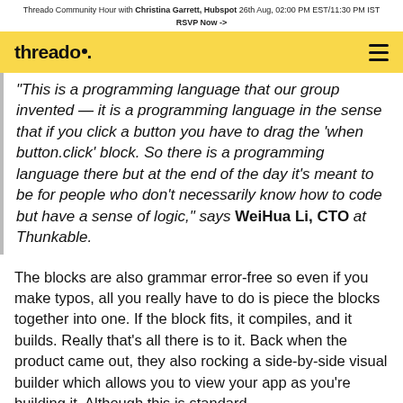Threado Community Hour with Christina Garrett, Hubspot 26th Aug, 02:00 PM EST/11:30 PM IST
RSVP Now ->
threado.
"This is a programming language that our group invented — it is a programming language in the sense that if you click a button you have to drag the 'when button.click' block. So there is a programming language there but at the end of the day it's meant to be for people who don't necessarily know how to code but have a sense of logic," says WeiHua Li, CTO at Thunkable.
The blocks are also grammar error-free so even if you make typos, all you really have to do is piece the blocks together into one. If the block fits, it compiles, and it builds. Really that's all there is to it. Back when the product came out, they also rocking a side-by-side visual builder which allows you to view your app as you're building it. Although this is standard